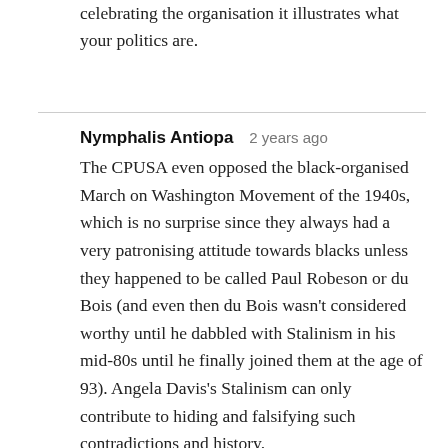celebrating the organisation it illustrates what your politics are.
Nymphalis Antiopa   2 years ago
The CPUSA even opposed the black-organised March on Washington Movement of the 1940s, which is no surprise since they always had a very patronising attitude towards blacks unless they happened to be called Paul Robeson or du Bois (and even then du Bois wasn't considered worthy until he dabbled with Stalinism in his mid-80s until he finally joined them at the age of 93). Angela Davis's Stalinism can only contribute to hiding and falsifying such contradictions and history.